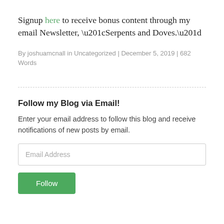Signup here to receive bonus content through my email Newsletter, “Serpents and Doves.”
By joshuamcnall in Uncategorized | December 5, 2019 | 682 Words
Follow my Blog via Email!
Enter your email address to follow this blog and receive notifications of new posts by email.